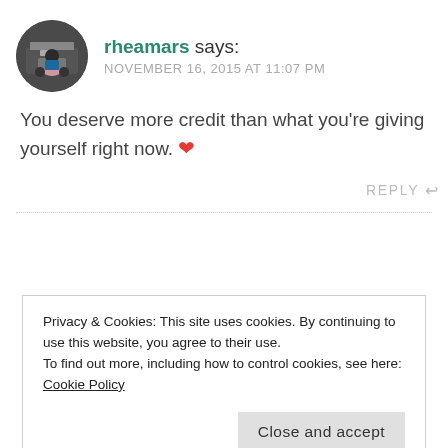[Figure (photo): Circular avatar image of user rheamars, showing a person near a car trunk with pink items]
rheamars says:
NOVEMBER 16, 2015 AT 11:07 PM
You deserve more credit than what you’re giving yourself right now. ❤
REPLY ↩
Privacy & Cookies: This site uses cookies. By continuing to use this website, you agree to their use.
To find out more, including how to control cookies, see here: Cookie Policy
Close and accept
lady, who still has a lot of time left. Just be